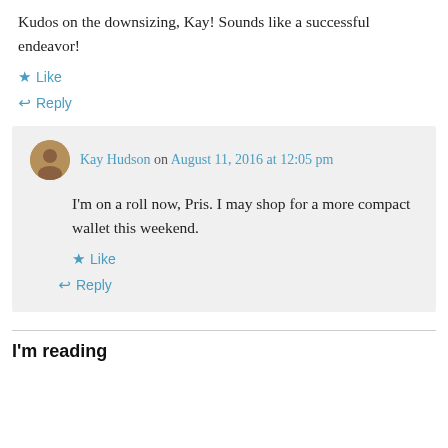Kudos on the downsizing, Kay! Sounds like a successful endeavor!
★ Like
↳ Reply
Kay Hudson on August 11, 2016 at 12:05 pm
I'm on a roll now, Pris. I may shop for a more compact wallet this weekend.
★ Like
↳ Reply
I'm reading